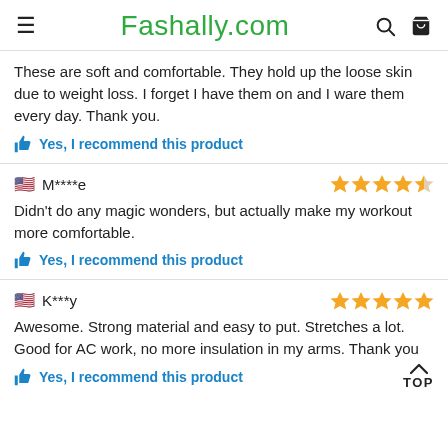Fashally.com
These are soft and comfortable. They hold up the loose skin due to weight loss. I forget I have them on and I ware them every day. Thank you.
Yes, I recommend this product
M****e — 4.5 stars
Didn't do any magic wonders, but actually make my workout more comfortable.
Yes, I recommend this product
K***y — 5 stars
Awesome. Strong material and easy to put. Stretches a lot. Good for AC work, no more insulation in my arms. Thank you
Yes, I recommend this product